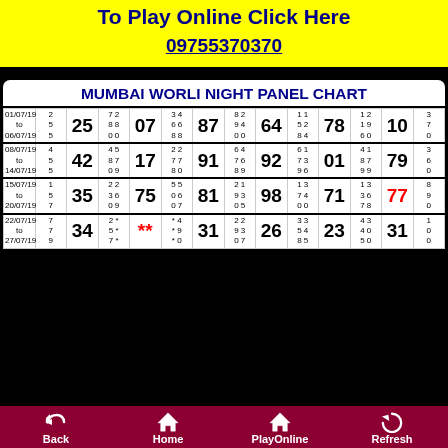To Play Online Click Here
09755370370
MUMBAI WORLI NIGHT PANEL CHART
| Date | Col1 | Big1 | Col2 | Big2 | Col3 | Big3 | Col4 | Big4 | Col5 | Big5 | Col6 | Big6 | End |
| --- | --- | --- | --- | --- | --- | --- | --- | --- | --- | --- | --- | --- | --- |
| 01/07/19 to 06/07/19 | 2 5 5 | 25 | 7 2 8 8 0 0 | 07 | 3 4 6 6 8 8 | 87 | 8 2 9 4 0 0 | 64 | 1 1 5 2 8 4 | 78 | 1 2 1 9 6 0 | 10 | 3 7 0 |
| 08/07/19 to 14/07/19 | 4 5 5 | 42 | 4 5 8 7 0 9 | 17 | 2 2 7 7 8 0 | 91 | 6 4 7 6 8 9 | 92 | 6 1 7 3 9 6 | 01 | 4 1 8 7 9 9 | 79 | 3 6 0 |
| 15/07/19 to 20/07/19 | 1 5 7 | 35 | 2 2 3 6 0 9 | 75 | 5 5 0 6 0 7 | 81 | 2 1 9 3 0 5 | 98 | 1 3 7 4 0 0 | 71 | 1 3 3 6 7 8 | 77 | 8 9 0 |
| 22/07/19 to 27/07/19 | 7 7 9 | 34 | 2 * 5 * 7 * | ** | * 4 * 9 * 0 | 31 | 2 2 9 3 0 7 | 26 | 3 3 5 4 8 5 | 23 | 4 3 4 0 5 0 | 31 | 1 0 0 |
Back  Home  PlayOnline  Refresh